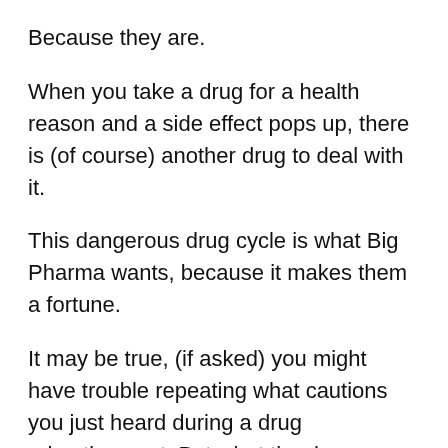Because they are.
When you take a drug for a health reason and a side effect pops up, there is (of course) another drug to deal with it.
This dangerous drug cycle is what Big Pharma wants, because it makes them a fortune.
It may be true, (if asked) you might have trouble repeating what cautions you just heard during a drug advertisement. But what the drug companies are worried about is that you are getting the Big Picture: drugs create as many problems as they fix.
I think the announcer fast-talking the list of side-